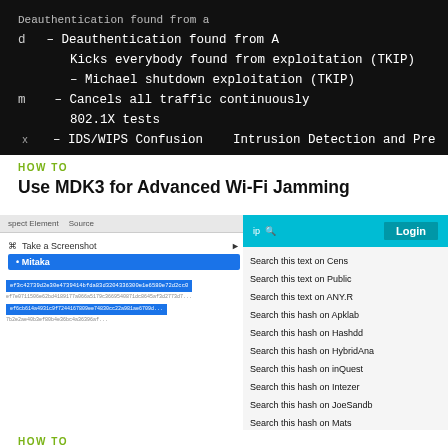[Figure (screenshot): Dark terminal/console screenshot showing MDK3 tool options including Deauthentication, Kicks everybody found from ap, Michael shutdown exploitation (TKIP), Cancels all traffic continuously, 802.1X tests, IDS/WIPS Confusion, Intrusion Detection and Prevention]
HOW TO
Use MDK3 for Advanced Wi-Fi Jamming
[Figure (screenshot): Screenshot of a browser showing Mitaka extension context menu with options: Inspect Element, Source, Take a Screenshot, Mitaka. On the right side a search panel with Login button and list: Search this text on Cens, Search this text on Public, Search this text on ANY.R, Search this hash on Apklab, Search this hash on Hashdd, Search this hash on HybridAna, Search this hash on inQuest, Search this hash on Intezer, Search this hash on JoeSandb, Search this hash on Mats, Search this hash on ...]
HOW TO
Use Mitaka to Perform In-Browser OSINT to Identify Malware, Sketchy Sites, Shady Emails & More